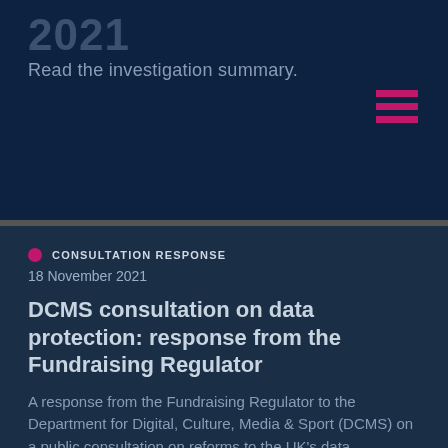2021
Read the investigation summary.
CONSULTATION RESPONSE
18 November 2021
DCMS consultation on data protection: response from the Fundraising Regulator
A response from the Fundraising Regulator to the Department for Digital, Culture, Media & Sport (DCMS) on a public consultation on reforms to the UK's data protection regime